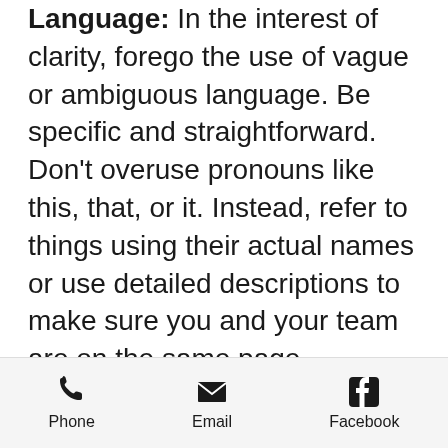Language: In the interest of clarity, forego the use of vague or ambiguous language. Be specific and straightforward. Don't overuse pronouns like this, that, or it. Instead, refer to things using their actual names or use detailed descriptions to make sure you and your team are on the same page.
Phone  Email  Facebook